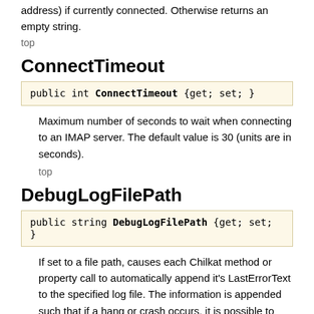address) if currently connected. Otherwise returns an empty string.
top
ConnectTimeout
public int ConnectTimeout {get; set; }
Maximum number of seconds to wait when connecting to an IMAP server. The default value is 30 (units are in seconds).
top
DebugLogFilePath
public string DebugLogFilePath {get; set; }
If set to a file path, causes each Chilkat method or property call to automatically append it's LastErrorText to the specified log file. The information is appended such that if a hang or crash occurs, it is possible to see the context in which the problem occurred, as well as a